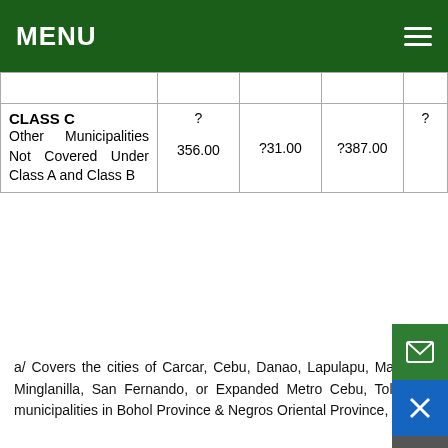MENU
|  |  |  |  |  |
| --- | --- | --- | --- | --- |
| CLASS C
Other Municipalities Not Covered Under Class A and Class B | ?
356.00 | ?31.00 | ?387.00 | ? |
a/ Covers the cities of Carcar, Cebu, Danao, Lapulapu, Mandaue, Naga, Talisay and Municipalities of Compostela, Consolacion, Cordova, Liloan, Minglanilla, San Fernando, or Expanded Metro Cebu, Toledo, Bogo, and the rest of Municipalities in Cebu Province, Tagbilaran City and all municipalities in Bohol Province & Negros Oriental Province, Municipalities in Siquijor Province & Municipalities in Bantayan and Camotes.